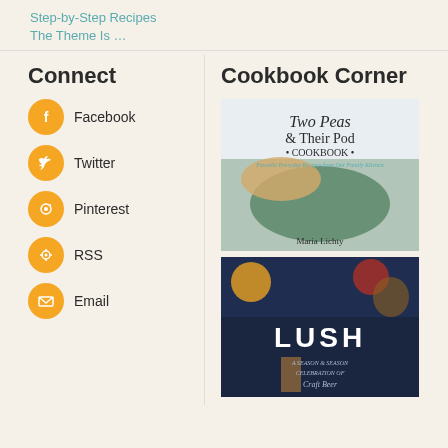Step-by-Step Recipes
The Theme Is …
Connect
Facebook
Twitter
Pinterest
RSS
Email
Cookbook Corner
[Figure (photo): Book cover: Two Peas & Their Pod Cookbook by Maria Lichty — Favorite Everyday Recipes from Our Family Kitchen]
[Figure (photo): Book cover: LUSH — A Season by Season Celebration of Craft Beer]